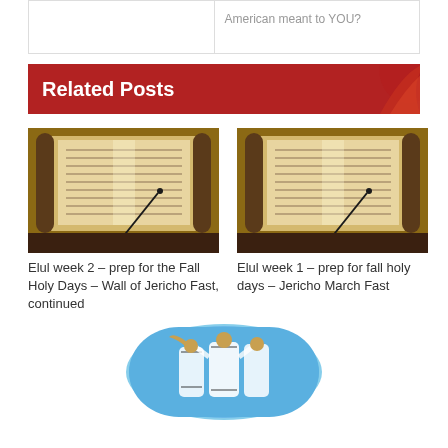American meant to YOU?
Related Posts
[Figure (photo): Scroll of Torah with pointer, photo for Elul week 2 post]
[Figure (photo): Scroll of Torah with pointer, photo for Elul week 1 post]
Elul week 2 – prep for the Fall Holy Days – Wall of Jericho Fast, continued
Elul week 1 – prep for fall holy days – Jericho March Fast
[Figure (photo): People in prayer shawls blowing shofar, oval cropped image]